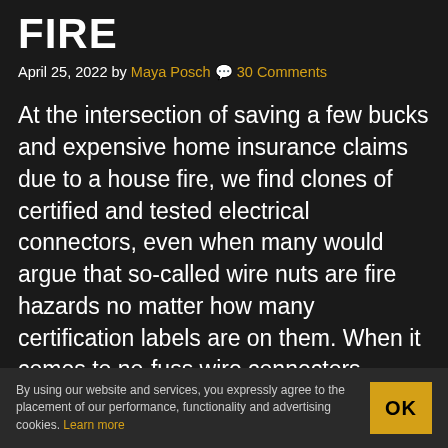FIRE
April 25, 2022 by Maya Posch 💬 30 Comments
At the intersection of saving a few bucks and expensive home insurance claims due to a house fire, we find clones of certified and tested electrical connectors, even when many would argue that so-called wire nuts are fire hazards no matter how many certification labels are on them. When it comes to no-fuss wire connectors, Wago clamp connectors are an attractive target to save some money on due to their perceived high cost. But how
By using our website and services, you expressly agree to the placement of our performance, functionality and advertising cookies. Learn more